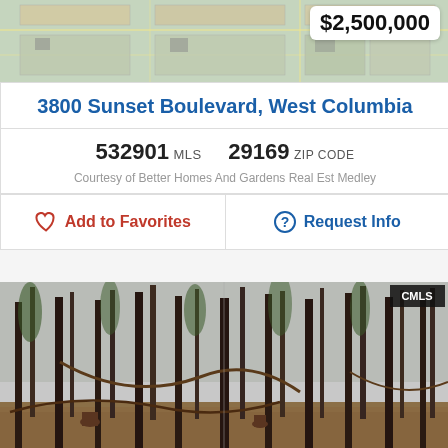[Figure (photo): Aerial map view of property location]
$2,500,000
3800 Sunset Boulevard, West Columbia
532901 MLS   29169 ZIP CODE
Courtesy of Better Homes And Gardens Real Est Medley
Add to Favorites
Request Info
[Figure (photo): Forest/wooded land photo showing pine trees and forest floor]